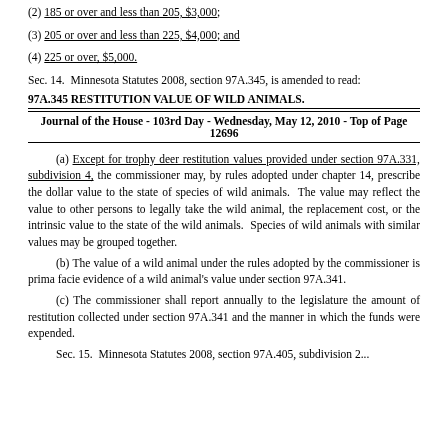(2) 185 or over and less than 205, $3,000;
(3) 205 or over and less than 225, $4,000; and
(4) 225 or over, $5,000.
Sec. 14.  Minnesota Statutes 2008, section 97A.345, is amended to read:
97A.345 RESTITUTION VALUE OF WILD ANIMALS.
Journal of the House - 103rd Day - Wednesday, May 12, 2010 - Top of Page 12696
(a) Except for trophy deer restitution values provided under section 97A.331, subdivision 4, the commissioner may, by rules adopted under chapter 14, prescribe the dollar value to the state of species of wild animals. The value may reflect the value to other persons to legally take the wild animal, the replacement cost, or the intrinsic value to the state of the wild animals. Species of wild animals with similar values may be grouped together.
(b) The value of a wild animal under the rules adopted by the commissioner is prima facie evidence of a wild animal's value under section 97A.341.
(c) The commissioner shall report annually to the legislature the amount of restitution collected under section 97A.341 and the manner in which the funds were expended.
Sec. 15.  Minnesota Statutes 2008, section 97A.405, subdivision 2...